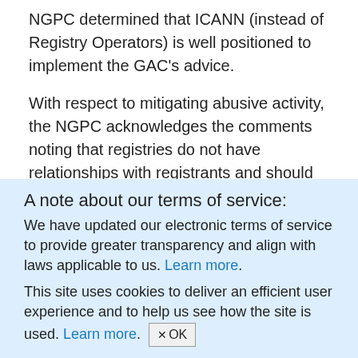NGPC determined that ICANN (instead of Registry Operators) is well positioned to implement the GAC's advice.
With respect to mitigating abusive activity, the NGPC acknowledges the comments noting that registries do not have relationships with registrants and should not be required to determine whether a registrant is in compliance with applicable laws. To address this concern, the NGPC included language in the PIC Specification that would obligate registry operators to include a provision in
A note about our terms of service:
We have updated our electronic terms of service to provide greater transparency and align with laws applicable to us. Learn more.
This site uses cookies to deliver an efficient user experience and to help us see how the site is used. Learn more. ✕OK